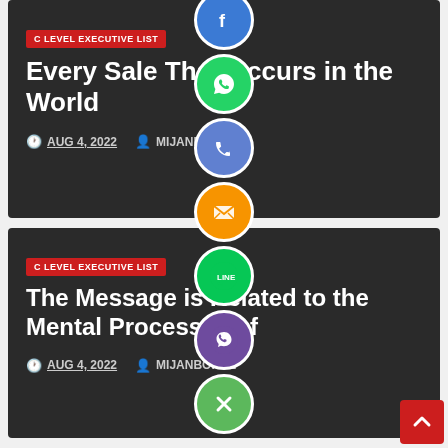[Figure (screenshot): Dark card with red badge 'C LEVEL EXECUTIVE LIST', title 'Every Sale That Occurs in the World', date AUG 4, 2022, author MIJANBOKUL]
[Figure (screenshot): Dark card with red badge 'C LEVEL EXECUTIVE LIST', title 'The Message is Related to the Mental Processes of', date AUG 4, 2022, author MIJANBOKUL]
[Figure (infographic): Vertical strip of social media share icons: Facebook, WhatsApp, Phone, Email, LINE, Viber, Close button]